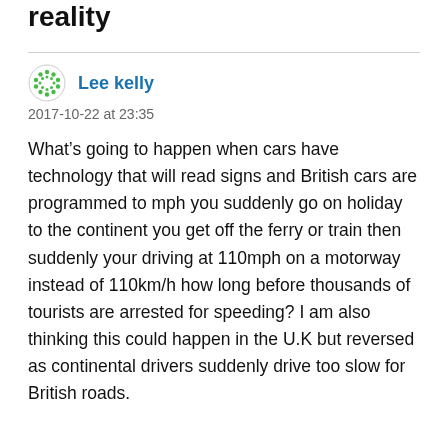reality
Lee kelly
2017-10-22 at 23:35
What’s going to happen when cars have technology that will read signs and British cars are programmed to mph you suddenly go on holiday to the continent you get off the ferry or train then suddenly your driving at 110mph on a motorway instead of 110km/h how long before thousands of tourists are arrested for speeding? I am also thinking this could happen in the U.K but reversed as continental drivers suddenly drive too slow for British roads.